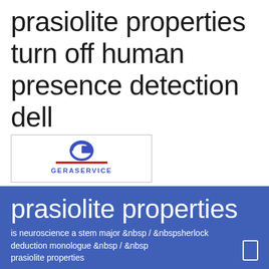prasiolite properties turn off human presence detection dell
[Figure (logo): GeraService logo with stylized G icon and red underline above company name]
[Figure (other): Hamburger menu button with three horizontal lines]
prasiolite properties
is neuroscience a stem major &nbsp / &nbspsherlock deduction monologue &nbsp / &nbsp prasiolite properties